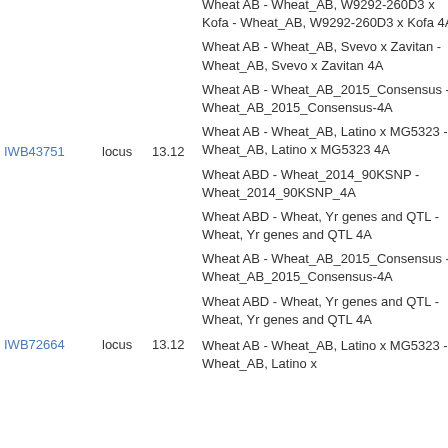| ID | Type | Value | Description |
| --- | --- | --- | --- |
| IWB43751 | locus | 13.12 | Wheat AB - Wheat_AB, W9292-260D3 x Kofa - Wheat_AB, W9292-260D3 x Kofa 4A
Wheat AB - Wheat_AB, Svevo x Zavitan - Wheat_AB, Svevo x Zavitan 4A
Wheat AB - Wheat_AB_2015_Consensus - Wheat_AB_2015_Consensus-4A
Wheat AB - Wheat_AB, Latino x MG5323 - Wheat_AB, Latino x MG5323 4A
Wheat ABD - Wheat_2014_90KSNP - Wheat_2014_90KSNP_4A
Wheat ABD - Wheat, Yr genes and QTL - Wheat, Yr genes and QTL 4A
Wheat AB - Wheat_AB_2015_Consensus - Wheat_AB_2015_Consensus-4A
Wheat ABD - Wheat, Yr genes and QTL - Wheat, Yr genes and QTL 4A |
| IWB72664 | locus | 13.12 | Wheat AB - Wheat_AB, Latino x MG5323 - Wheat_AB, Latino x... |